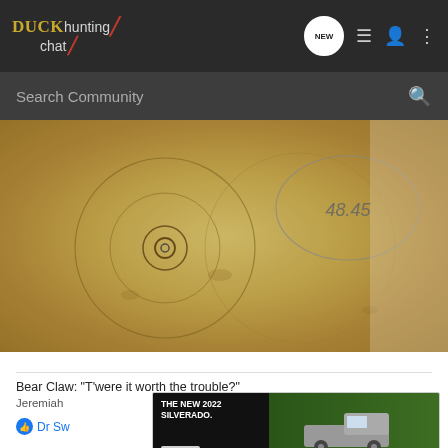Duck hunting chat — navigation bar with NEW, list, user, and menu icons
Search Community
[Figure (photo): Photo of a paper target or brown paper on a flat surface with hand-drawn concentric circles and the number 48.45 circled in the upper right]
Bear Claw: "T'were it worth the trouble?"
Jeremiah
Dr Sw
[Figure (screenshot): Advertisement banner: 'THE NEW 2022 SILVERADO.' with Explore button, image of truck, Chevrolet logo]